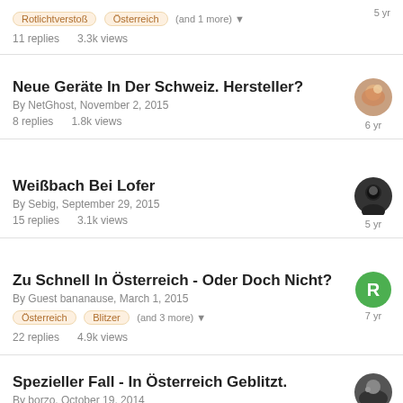Rotlichtverstoß | Österreich | (and 1 more) | 5 yr | 11 replies  3.3k views
Neue Geräte In Der Schweiz. Hersteller?
By NetGhost, November 2, 2015
8 replies  1.8k views
6 yr
Weißbach Bei Lofer
By Sebig, September 29, 2015
15 replies  3.1k views
5 yr
Zu Schnell In Österreich - Oder Doch Nicht?
By Guest bananause, March 1, 2015
Österreich | Blitzer | (and 3 more)
22 replies  4.9k views
7 yr
Spezieller Fall - In Österreich Geblitzt.
By borzo, October 19, 2014
7 yr